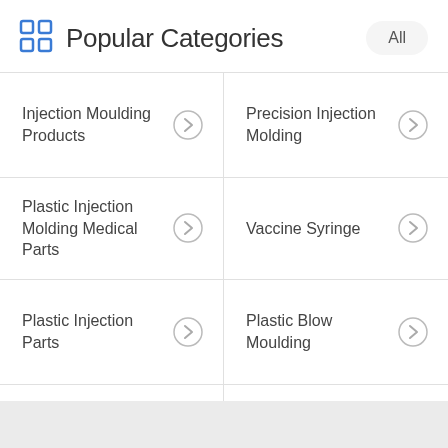Popular Categories
Injection Moulding Products
Precision Injection Molding
Plastic Injection Molding Medical Parts
Vaccine Syringe
Plastic Injection Parts
Plastic Blow Moulding
Plastic Injection Overmolding
Injection Car Parts